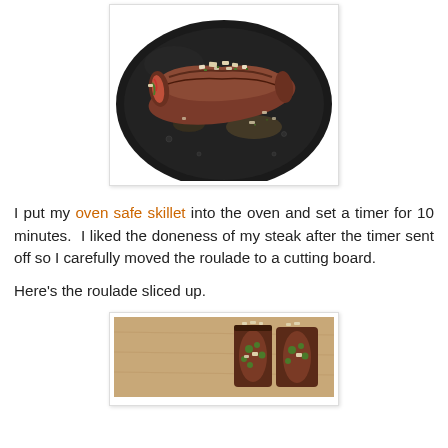[Figure (photo): A rolled steak roulade searing in a dark non-stick skillet, topped with chopped garlic and herbs, with juices and garlic visible around it.]
I put my oven safe skillet into the oven and set a timer for 10 minutes.  I liked the doneness of my steak after the timer sent off so I carefully moved the roulade to a cutting board.
Here's the roulade sliced up.
[Figure (photo): Sliced steak roulade pieces on a cutting board, showing the cross-section with filling of herbs and garlic, partially visible at the bottom of the page.]